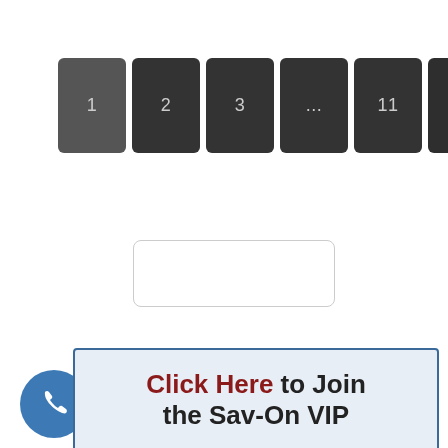[Figure (other): Pagination navigation buttons showing pages 1, 2, 3, ..., 11 and NEXT »]
[Figure (other): Empty rounded rectangle box, possibly an ad placeholder]
[Figure (other): Call to action banner with phone icon circle: 'Click Here to Join the Sav-On VIP']